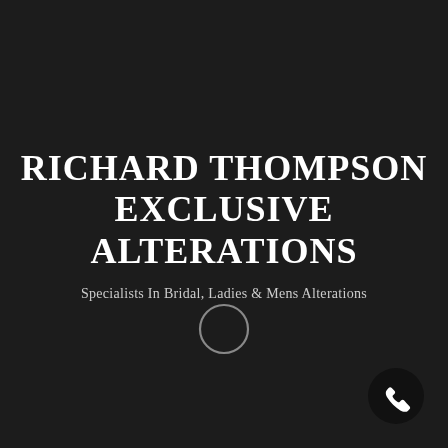RICHARD THOMPSON EXCLUSIVE ALTERATIONS
Specialists In Bridal, Ladies & Mens Alterations
[Figure (illustration): A thin circular ring outline icon, grey/white on dark background]
[Figure (illustration): A black circular button with a white telephone/phone handset icon, located in the bottom-right corner]